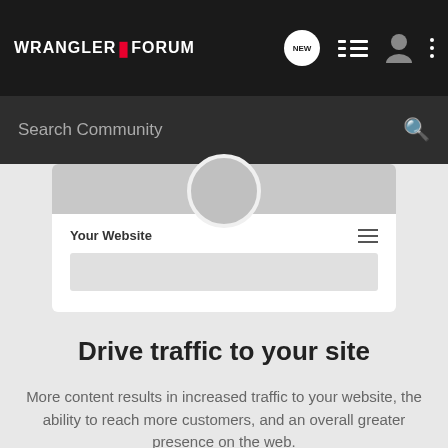WRANGLER FORUM
[Figure (screenshot): Mock website preview showing 'Your Website' with a circular profile image at top, hamburger menu icon, and a gray banner placeholder below]
Drive traffic to your site
More content results in increased traffic to your website, the ability to reach more customers, and an overall greater presence on the web.